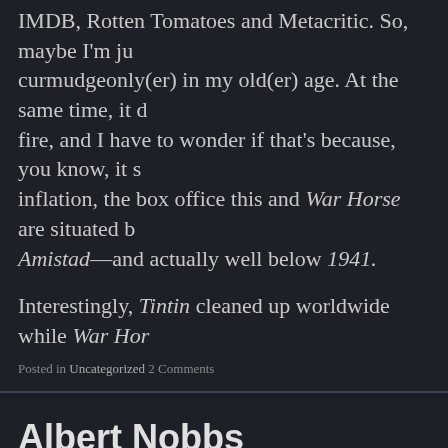IMDB, Rotten Tomatoes and Metacritic. So, maybe I'm just becoming more curmudgeonly(er) in my old(er) age. At the same time, it didn't catch fire, and I have to wonder if that's because, you know, it stinks. For inflation, the box office this and War Horse are situated below Hook, below Amistad—and actually well below 1941.
Interestingly, Tintin cleaned up worldwide while War Hor
Posted in Uncategorized 2 Comments
Albert Nobbs
11 years ago  blake
I went to a conference a few weeks ago where was a transvestite. I was trying to focus on what the pers